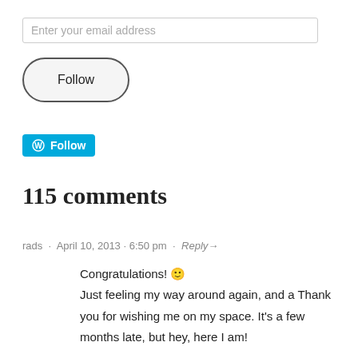Enter your email address
[Figure (screenshot): Follow button with rounded border]
[Figure (screenshot): WordPress Follow button in blue]
115 comments
rads · April 10, 2013 · 6:50 pm · Reply→
Congratulations! 🙂 Just feeling my way around again, and a Thank you for wishing me on my space. It's a few months late, but hey, here I am!